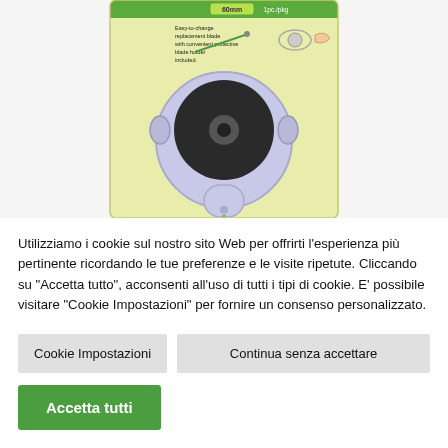[Figure (photo): Product packaging image of a Clover 60mm rotary cutter replacement blade in a light yellow-green package. The package shows the blade in a protective holder, with text 'Easy-to-change replacement blade with convenient protective blade holder included', and labels '60mm' and '1pc./pkg'.]
Utilizziamo i cookie sul nostro sito Web per offrirti l'esperienza più pertinente ricordando le tue preferenze e le visite ripetute. Cliccando su "Accetta tutto", acconsenti all'uso di tutti i tipi di cookie. E' possibile visitare "Cookie Impostazioni" per fornire un consenso personalizzato.